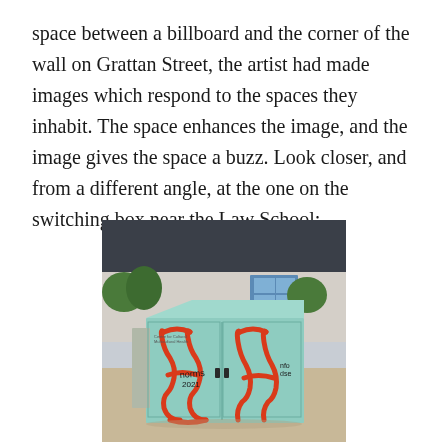space between a billboard and the corner of the wall on Grattan Street, the artist had made images which respond to the spaces they inhabit. The space enhances the image, and the image gives the space a buzz. Look closer, and from a different angle, at the one on the switching box near the Law School:
[Figure (photo): A photograph of a utility switching box painted with red line-art on a mint/teal green background, depicting abstract face-like figures. The box is situated in a paved outdoor area with a building and trees visible in the background.]